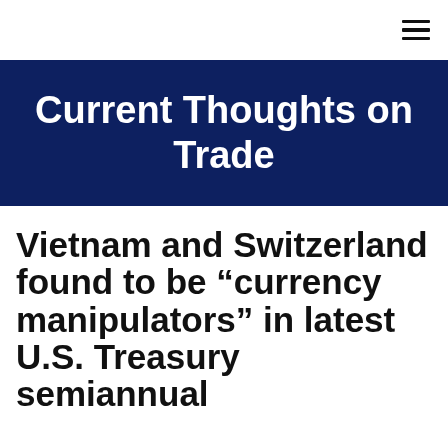≡
Current Thoughts on Trade
Vietnam and Switzerland found to be “currency manipulators” in latest U.S. Treasury semiannual